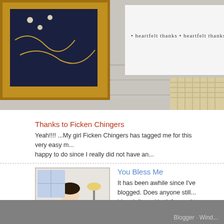[Figure (photo): Photo showing craft items including a dark navy/blue decorated board with gold frame and a white card with text 'heartfelt thanks' repeated, placed on wooden floor with a woven basket]
Thanks to Ficken Chingers
Yeah!!!!  ...My girl Ficken Chingers has tagged me for this very easy m... happy to do since I really did not have an...
[Figure (photo): Thumbnail image showing folk art illustration of a woman at a desk]
You Bless Me
It has been awhile since I've blogged. Does anyone still... blog daily and look forward to visiting all my blog fri...
A Bo Bice e-mail addy
I was surfing around on the Bo Bice site that I have under my links,... bands (Sugarmoney) site ..While browsing aro...
Blogger · Wind...